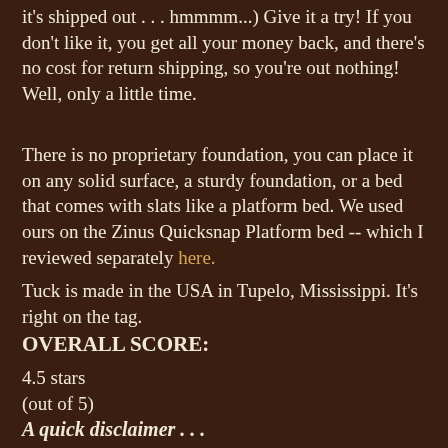it's shipped out . . . hmmmm...) Give it a try! If you don't like it, you get all your money back, and there's no cost for return shipping, so you're out nothing! Well, only a little time.
There is no proprietary foundation, you can place it on any solid surface, a sturdy foundation, or a bed that comes with slats like a platform bed. We used ours on the Zinus Quicksnap Platform bed -- which I reviewed separately here.
Tuck is made in the USA in Tupelo, Mississippi. It's right on the tag.
OVERALL SCORE:
4.5 stars
(out of 5)
A quick disclaimer . . .
I feel like I need to state that this review is different and harder than most, because this mattress was customized just for us! Most Tuck mattresses are going to be around a